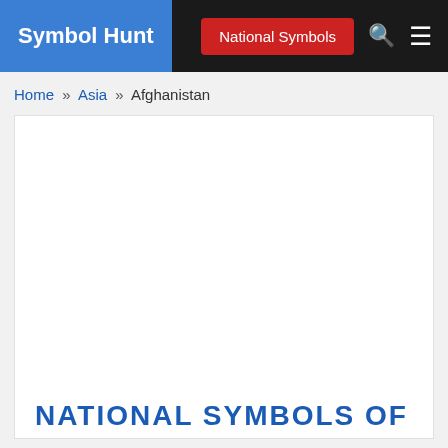Symbol Hunt | National Symbols
Home » Asia » Afghanistan
[Figure (other): Advertisement placeholder (white empty area)]
NATIONAL SYMBOLS OF